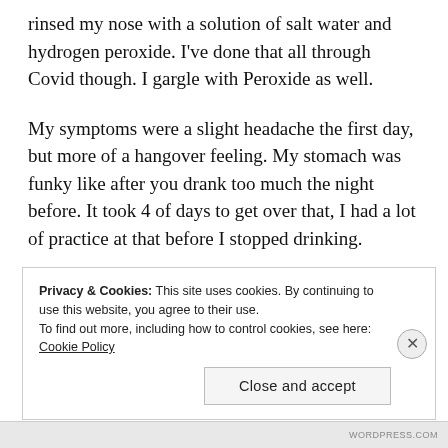rinsed my nose with a solution of salt water and hydrogen peroxide. I've done that all through Covid though. I gargle with Peroxide as well.
My symptoms were a slight headache the first day, but more of a hangover feeling. My stomach was funky like after you drank too much the night before. It took 4 of days to get over that, I had a lot of practice at that before I stopped drinking.
Privacy & Cookies: This site uses cookies. By continuing to use this website, you agree to their use. To find out more, including how to control cookies, see here: Cookie Policy
Close and accept